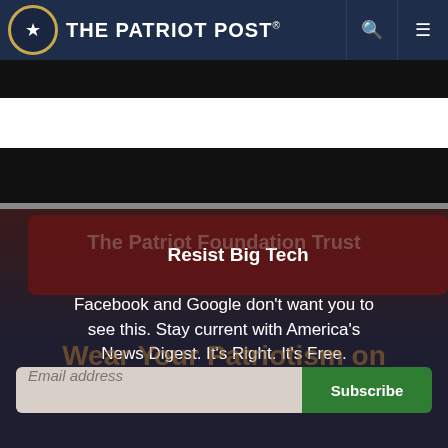The Patriot Post
[Figure (screenshot): Black video player banner with blue 'END OF WATCH' text banner overlay and red X close button]
Resist Big Tech
The Patriot Foundation Trust
Facebook and Google don't want you to see this. Stay current with America's News Digest. It's Right. It's Free.
Wear Your Patriotism on Your Sleeve
Email address  Subscribe
I'm Already Subscribed